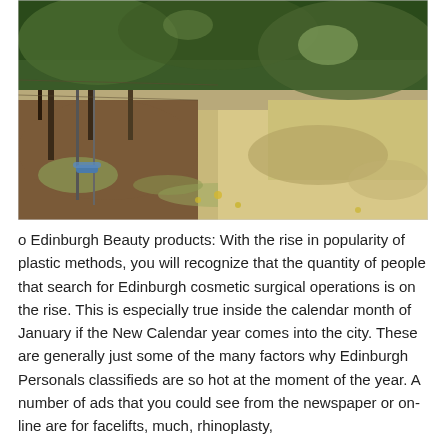[Figure (photo): Outdoor photo of an orchard or garden with trees/vines, dried grass and bare earth ground, shot in bright sunlight creating strong shadows.]
o Edinburgh Beauty products: With the rise in popularity of plastic methods, you will recognize that the quantity of people that search for Edinburgh cosmetic surgical operations is on the rise. This is especially true inside the calendar month of January if the New Calendar year comes into the city. These are generally just some of the many factors why Edinburgh Personals classifieds are so hot at the moment of the year. A number of ads that you could see from the newspaper or on-line are for facelifts, much, rhinoplasty,